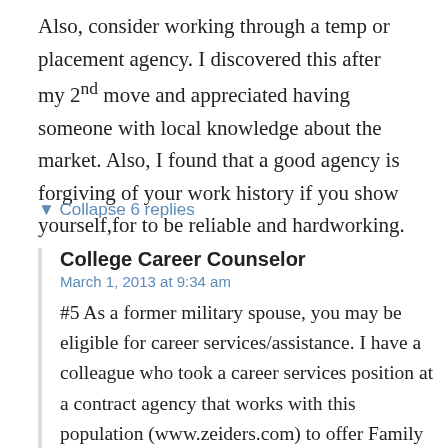Also, consider working through a temp or placement agency. I discovered this after my 2nd move and appreciated having someone with local knowledge about the market. Also, I found that a good agency is forgiving of your work history if you show yourself,for to be reliable and hardworking.
▼ Collapse 6 replies
College Career Counselor
March 1, 2013 at 9:34 am
#5 As a former military spouse, you may be eligible for career services/assistance. I have a colleague who took a career services position at a contract agency that works with this population (www.zeiders.com) to offer Family Member Employment Assistance. It might be [CLOSE] exploring to see if any of their services are of interest and if they'll work with you (As I'm sure you know, you're